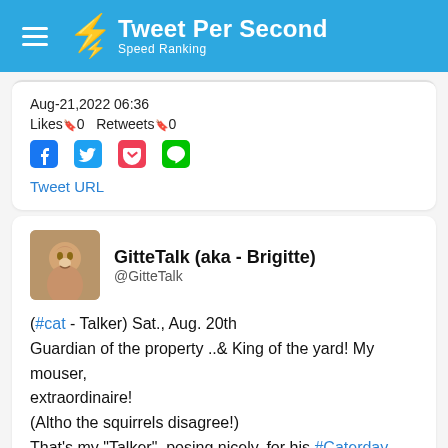Tweet Per Second – Speed Ranking
Aug-21,2022 06:36
Likes︎0   Retweets︎0
Tweet URL
GitteTalk (aka - Brigitte)
@GitteTalk
(#cat - Talker) Sat., Aug. 20th
Guardian of the property ..& King of the yard! My mouser, extraordinaire!
(Altho the squirrels disagree!)
That's my "Talker", posing nicely, for his #Caterday portrait!
#CatsOfTwitter